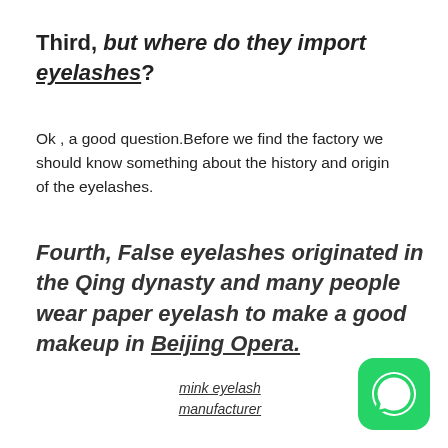Third, but where do they import eyelashes?
Ok , a good question.Before we find the factory we should know something about the history and origin of the eyelashes.
Fourth, False eyelashes originated in the Qing dynasty and many people wear paper eyelash to make a good makeup in Beijing Opera.
mink eyelash manufacturer
[Figure (logo): WhatsApp green logo icon in bottom right corner]